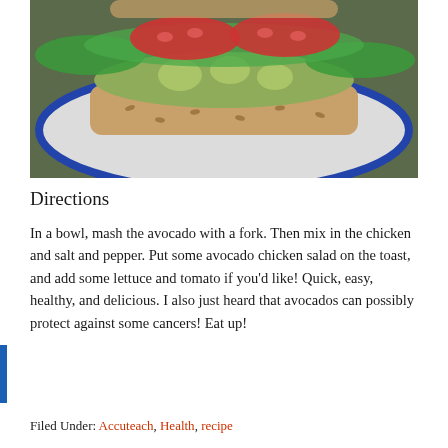[Figure (photo): A sandwich with avocado chicken salad, lettuce, and tomato slices on toasted bread served on a white plate with blue rim border.]
Directions
In a bowl, mash the avocado with a fork. Then mix in the chicken and salt and pepper. Put some avocado chicken salad on the toast, and add some lettuce and tomato if you'd like! Quick, easy, healthy, and delicious. I also just heard that avocados can possibly protect against some cancers! Eat up!
Filed Under: Accuteach, Health, recipe